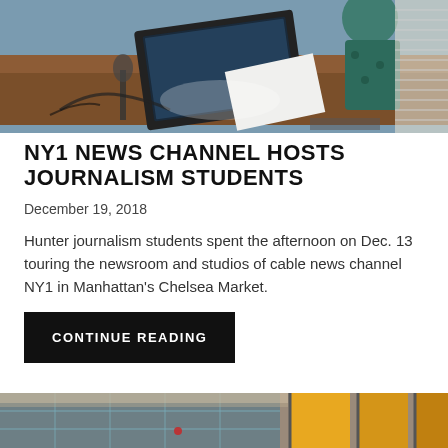[Figure (photo): Journalism student or professional working at a desk with a laptop in what appears to be a newsroom or studio setting. A woman in a teal patterned dress is visible in the background.]
NY1 NEWS CHANNEL HOSTS JOURNALISM STUDENTS
December 19, 2018
Hunter journalism students spent the afternoon on Dec. 13 touring the newsroom and studios of cable news channel NY1 in Manhattan's Chelsea Market.
CONTINUE READING
[Figure (photo): Interior of a modern building lobby or newsroom with yellow panels on the right side and large glass windows on the left.]